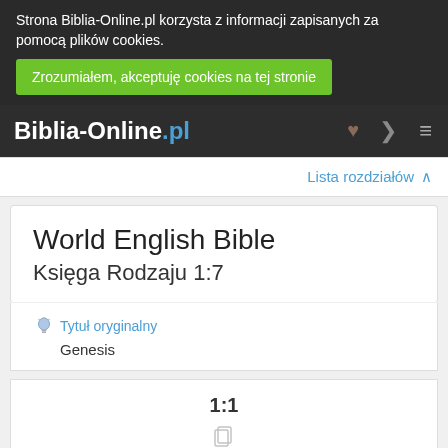Strona Biblia-Online.pl korzysta z informacji zapisanych za pomocą plików cookies. Zrozumiałem, akceptuję cookies na tej stronie
Biblia-Online.pl
Lista rozdziałów ∧
World English Bible
Księga Rodzaju 1:7
Tytuł oryginalny
Genesis
1:1
In the beginning God created